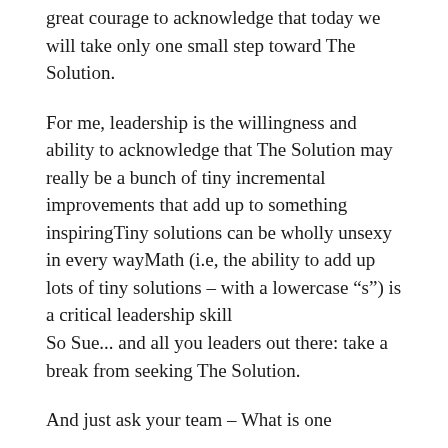great courage to acknowledge that today we will take only one small step toward The Solution.
For me, leadership is the willingness and ability to acknowledge that The Solution may really be a bunch of tiny incremental improvements that add up to something inspiringTiny solutions can be wholly unsexy in every wayMath (i.e, the ability to add up lots of tiny solutions – with a lowercase “s”) is a critical leadership skill
So Sue... and all you leaders out there: take a break from seeking The Solution.
And just ask your team – What is one